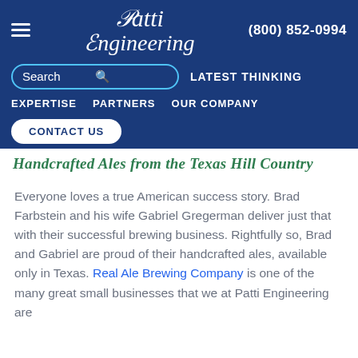Patti Engineering | (800) 852-0994
[Figure (logo): Patti Engineering logo with decorative italic serif font on dark blue background]
Search
LATEST THINKING
EXPERTISE   PARTNERS   OUR COMPANY
CONTACT US
Handcrafted Ales from the Texas Hill Country
Everyone loves a true American success story. Brad Farbstein and his wife Gabriel Gregerman deliver just that with their successful brewing business. Rightfully so, Brad and Gabriel are proud of their handcrafted ales, available only in Texas. Real Ale Brewing Company is one of the many great small businesses that we at Patti Engineering are